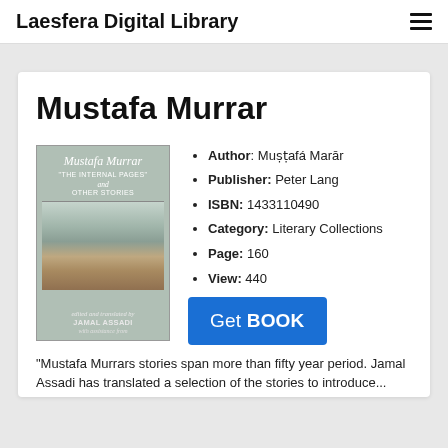Laesfera Digital Library
Mustafa Murrar
Author: Muṣṭafá Marār
Publisher: Peter Lang
ISBN: 1433110490
Category: Literary Collections
Page: 160
View: 440
[Figure (illustration): Book cover for Mustafa Murrar 'The Internal Pages' and Other Stories, edited and translated by Jamal Assadi, showing a landscape painting of a village]
"Mustafa Murrars stories span more than fifty year period. Jamal Assadi has translated a selection of the stories to introduce...